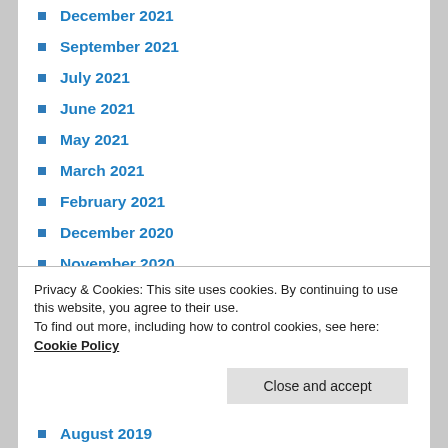December 2021
September 2021
July 2021
June 2021
May 2021
March 2021
February 2021
December 2020
November 2020
September 2020
August 2020
July 2020
June 2020
May 2020
April 2020
Privacy & Cookies: This site uses cookies. By continuing to use this website, you agree to their use.
To find out more, including how to control cookies, see here: Cookie Policy
August 2019